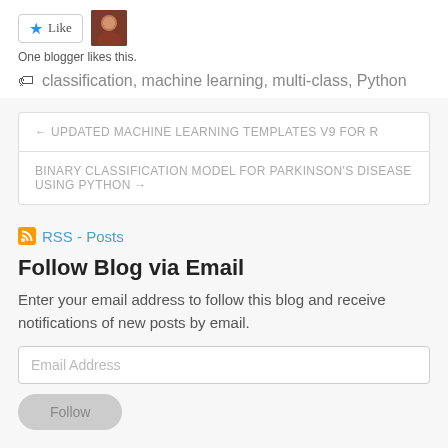[Figure (other): Like button with blue star and blogger avatar photo]
One blogger likes this.
classification, machine learning, multi-class, Python
← UPDATED MACHINE LEARNING TEMPLATES V9 FOR R
BINARY CLASSIFICATION MODEL FOR PARKINSON'S DISEASE USING PYTHON →
RSS - Posts
Follow Blog via Email
Enter your email address to follow this blog and receive notifications of new posts by email.
Email Address
Follow